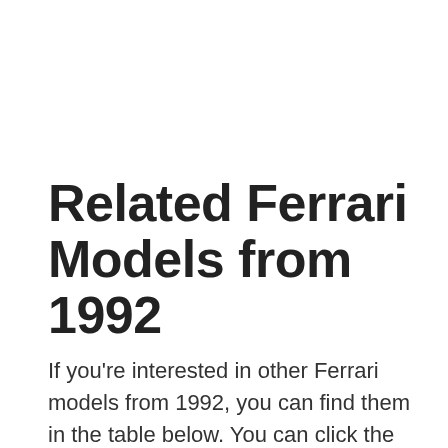Related Ferrari Models from 1992
If you're interested in other Ferrari models from 1992, you can find them in the table below. You can click the model link to find miles per gallon and emission information for that model.